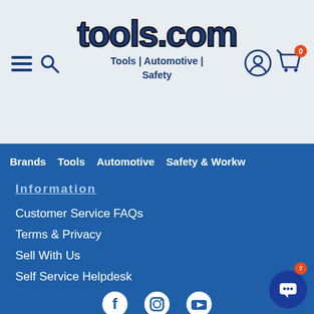[Figure (logo): tools.com logo with text Tools | Automotive | Safety]
Brands | Tools | Automotive | Safety & Workwear
Information
Customer Service FAQs
Terms & Privacy
Sell With Us
Self Service Helpdesk
[Figure (illustration): Social media icons: Facebook, Instagram, YouTube]
TOOLS.COM AUSTRALIAN OWNED Copyright © 2022 TOOLS.COM PTY LTD ABN: 98 602 925 315